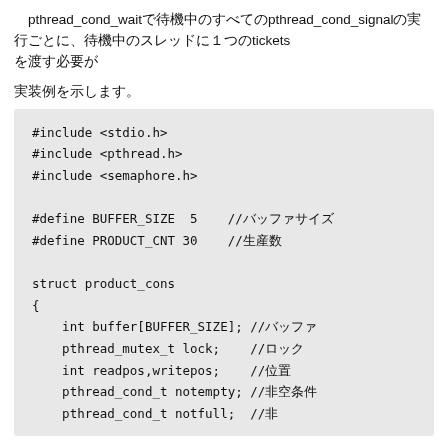pthread_cond_waitで待機中のすべてのpthread_cond_signalの実行ごとに、待機中のスレッドに１つのticketsを渡す必要が
実装例を示します。
[Figure (screenshot): Code block showing C source with #include stdio.h, pthread.h, semaphore.h, #define BUFFER_SIZE 5, #define PRODUCT_CNT 30, struct product_cons with buffer, lock, readpos/writepos, notempty, notfull fields]